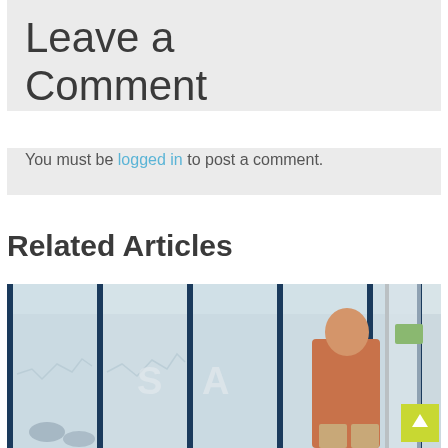Leave a Comment
You must be logged in to post a comment.
Related Articles
[Figure (photo): A man in an orange shirt standing in front of a glass office wall with stock chart graphics printed on it, with a conference room visible in the background.]